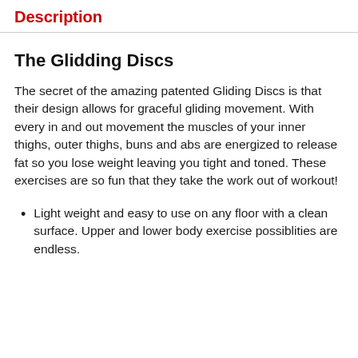Description
The Glidding Discs
The secret of the amazing patented Gliding Discs is that their design allows for graceful gliding movement. With every in and out movement the muscles of your inner thighs, outer thighs, buns and abs are energized to release fat so you lose weight leaving you tight and toned. These exercises are so fun that they take the work out of workout!
Light weight and easy to use on any floor with a clean surface. Upper and lower body exercise possiblities are endless.